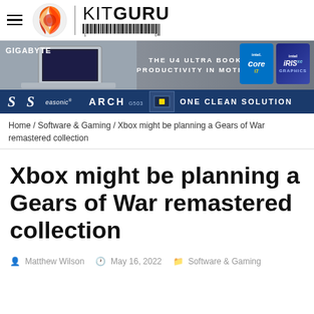[Figure (logo): KitGuru logo with flame/swirl orange-red circular icon, vertical divider, KITGURU text and barcode graphic]
[Figure (infographic): Gigabyte U4 Ultra Book advertisement banner with laptop image, Intel Core i7 and Intel Iris Xe badges]
[Figure (infographic): Seasonic ARCH G503 advertisement banner: One Clean Solution]
Home / Software & Gaming / Xbox might be planning a Gears of War remastered collection
Xbox might be planning a Gears of War remastered collection
Matthew Wilson   May 16, 2022   Software & Gaming